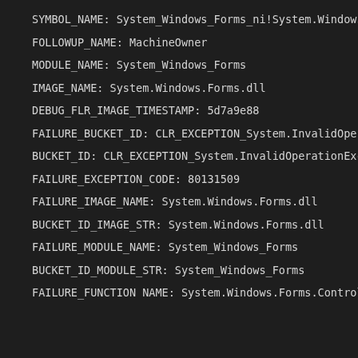SYMBOL_NAME:   System_Windows_Forms_ni!System.Windows.Form
FOLLOWUP_NAME:  MachineOwner
MODULE_NAME: System_Windows_Forms
IMAGE_NAME:  System.Windows.Forms.dll
DEBUG_FLR_IMAGE_TIMESTAMP:  5d7a9e88
FAILURE_BUCKET_ID:  CLR_EXCEPTION_System.InvalidOperation
BUCKET_ID:  CLR_EXCEPTION_System.InvalidOperationExceptio
FAILURE_EXCEPTION_CODE:  80131509
FAILURE_IMAGE_NAME:  System.Windows.Forms.dll
BUCKET_ID_IMAGE_STR:  System.Windows.Forms.dll
FAILURE_MODULE_NAME:  System_Windows_Forms
BUCKET_ID_MODULE_STR:  System_Windows_Forms
FAILURE_FUNCTION NAME:  System.Windows.Forms.Control.Mars